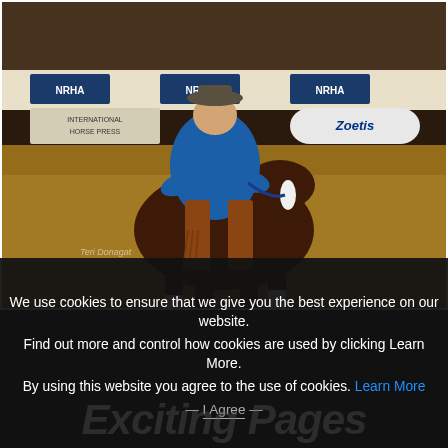[Figure (photo): A cowboy in a blue shirt and cowboy hat riding a dark brown/chestnut horse in a reining competition at an indoor arena. NRHA banners visible in background. Sandy arena floor. Photo credit watermark visible.]
We use cookies to ensure that we give you the best experience on our website.
Find out more and control how cookies are used by clicking Learn More.
By using this website you agree to the use of cookies. Learn More
I Agree